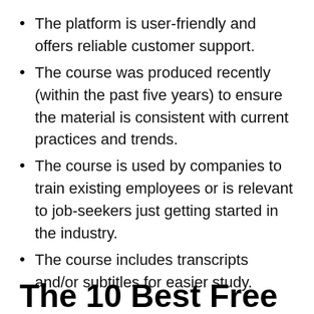The platform is user-friendly and offers reliable customer support.
The course was produced recently (within the past five years) to ensure the material is consistent with current practices and trends.
The course is used by companies to train existing employees or is relevant to job-seekers just getting started in the industry.
The course includes transcripts and/or subtitles for easier study.
The 10 Best Free